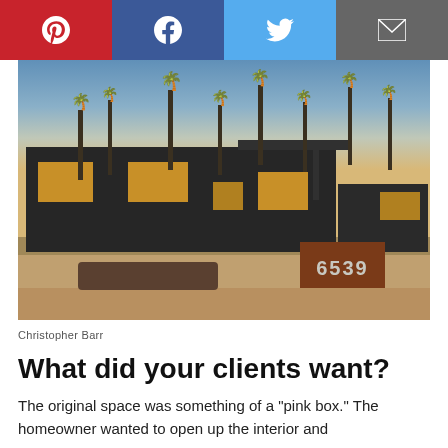[Figure (other): Social media share bar with Pinterest (red), Facebook (dark blue), Twitter (light blue), and Email (gray) buttons with icons]
[Figure (photo): Exterior photo of a modern desert home at dusk. Dark/black stucco exterior with warm-lit windows, palm trees, desert landscaping, and a corten steel address marker showing '6539'.]
Christopher Barr
What did your clients want?
The original space was something of a "pink box." The homeowner wanted to open up the interior and